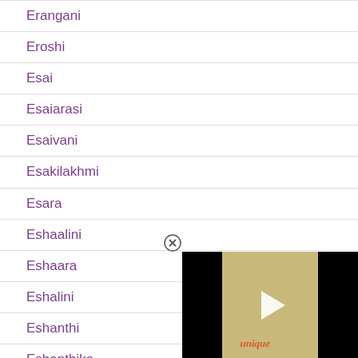Erangani
Eroshi
Esai
Esaiarasi
Esaivani
Esakilakhmi
Esara
Eshaalini
Eshaara
Eshalini
Eshanthi
Eshanthika
Eshara
[Figure (screenshot): Video player overlay showing a partially visible video with black bars on sides and a tan/olive colored center section with a play button and the text 'unique' in orange. A close (X) button appears at the top-left of the overlay.]